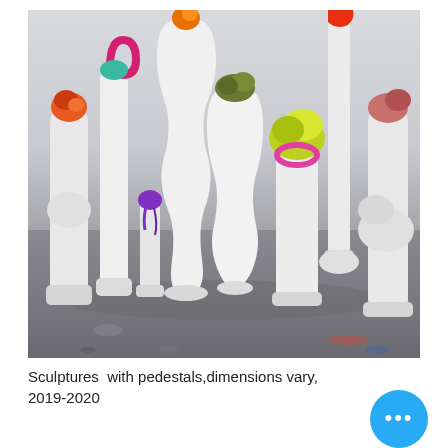[Figure (photo): A group of tall white sculptural pedestals of varying shapes and sizes, each topped with small colorful sculptural objects in red, orange, pink, green, yellow, and purple hues. The sculptures are arranged on a gray concrete floor against a light gray wall in what appears to be an artist's studio.]
Sculptures  with pedestals,dimensions vary, 2019-2020